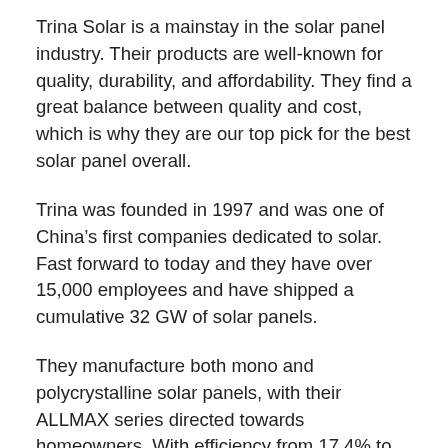Trina Solar is a mainstay in the solar panel industry. Their products are well-known for quality, durability, and affordability. They find a great balance between quality and cost, which is why they are our top pick for the best solar panel overall.
Trina was founded in 1997 and was one of China's first companies dedicated to solar. Fast forward to today and they have over 15,000 employees and have shipped a cumulative 32 GW of solar panels.
They manufacture both mono and polycrystalline solar panels, with their ALLMAX series directed towards homeowners. With efficiency from 17.4% to 19.1% (depending on the cell type), Trina's panels are on the medium to high side compared to other similar “standard” solar panels on the market.
Trina also...